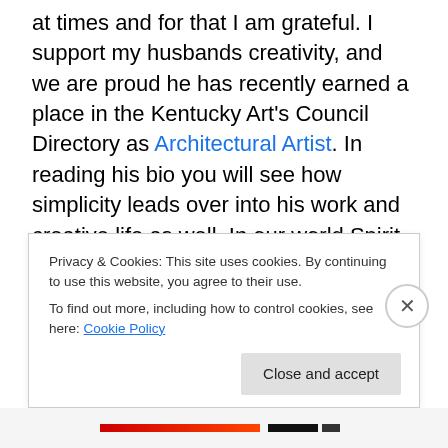at times and for that I am grateful.  I support my husbands creativity, and we are proud he has recently earned a place in the Kentucky Art's Council Directory as Architectural Artist.  In reading his bio you will see how simplicity leads over into his work and creative life as well.  In our world Spirit and the Physical realm are not separate.  It's simple, and interwoven throughout every moment.  Ryan speaks about “sacred space” in his work and I too think of our home as Sacred Space.  Sanctuary.  I have to work harder and longer if our sacred space is cluttered and dysfunctional.
Privacy & Cookies: This site uses cookies. By continuing to use this website, you agree to their use.
To find out more, including how to control cookies, see here: Cookie Policy